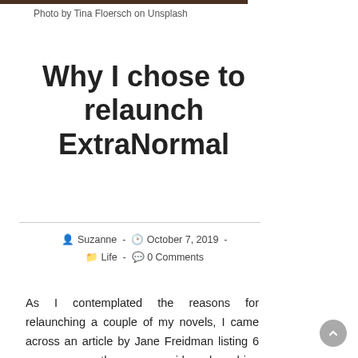Photo by Tina Floersch on Unsplash
Why I chose to relaunch ExtraNormal
Suzanne  -  October 7, 2019  -  Life  -  0 Comments
As I contemplated the reasons for relaunching a couple of my novels, I came across an article by Jane Freidman listing 6 reasons an author may consider relaunching one of their books. I'm happy to report that I qualify in all six